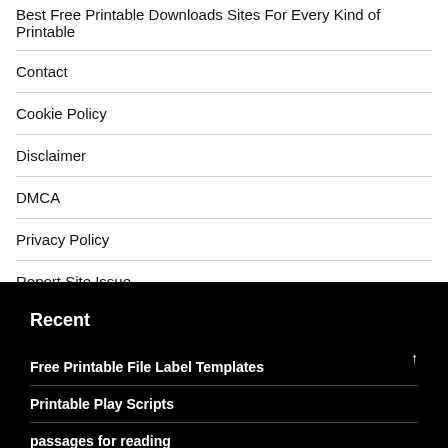Best Free Printable Downloads Sites For Every Kind of Printable
Contact
Cookie Policy
Disclaimer
DMCA
Privacy Policy
Report Site Issue
Terms of Use
Recent
Free Printable File Label Templates
Printable Play Scripts
passages for reading